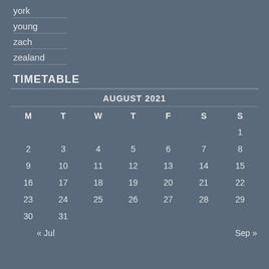york
young
zach
zealand
TIMETABLE
| M | T | W | T | F | S | S |
| --- | --- | --- | --- | --- | --- | --- |
|  |  |  |  |  |  | 1 |
| 2 | 3 | 4 | 5 | 6 | 7 | 8 |
| 9 | 10 | 11 | 12 | 13 | 14 | 15 |
| 16 | 17 | 18 | 19 | 20 | 21 | 22 |
| 23 | 24 | 25 | 26 | 27 | 28 | 29 |
| 30 | 31 |  |  |  |  |  |
| « Jul |  |  |  |  |  | Sep » |